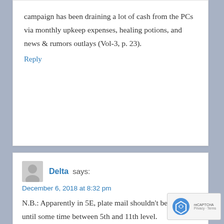campaign has been draining a lot of cash from the PCs via monthly upkeep expenses, healing potions, and news & rumors outlays (Vol-3, p. 23).
Reply
Delta says:
December 6, 2018 at 8:32 pm
N.B.: Apparently in 5E, plate mail shouldn't be available until some time between 5th and 11th level.